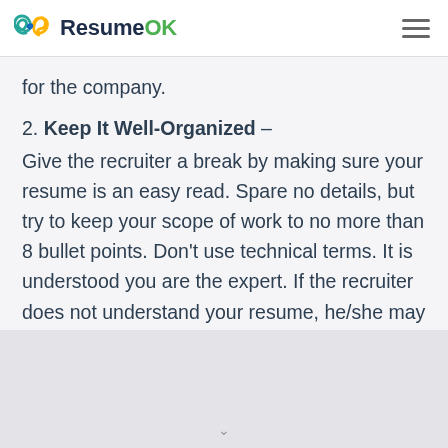ResumeOK
for the company.
2. Keep It Well-Organized –
Give the recruiter a break by making sure your resume is an easy read. Spare no details, but try to keep your scope of work to no more than 8 bullet points. Don't use technical terms. It is understood you are the expert. If the recruiter does not understand your resume, he/she may not finish reading it.